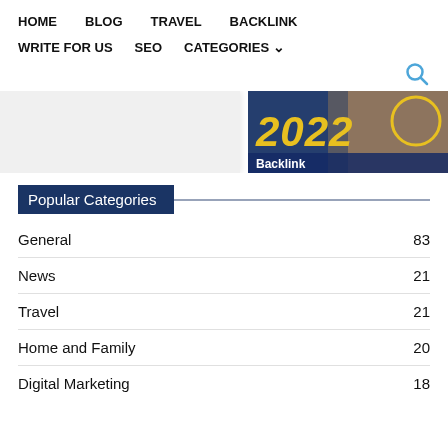HOME   BLOG   TRAVEL   BACKLINK
WRITE FOR US   SEO   CATEGORIES
[Figure (screenshot): Website banner image showing '2022' text in yellow on dark background with hands on keyboard and a circular graphic. Label 'Backlink' overlaid at bottom left.]
Popular Categories
General   83
News   21
Travel   21
Home and Family   20
Digital Marketing   18